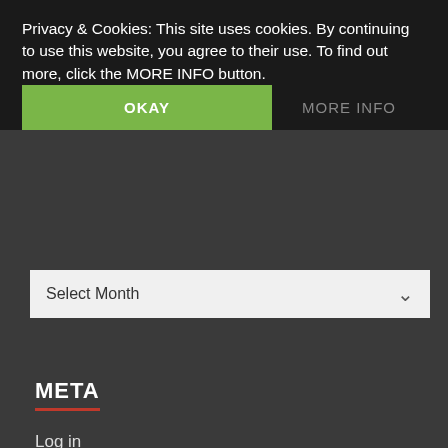Privacy & Cookies: This site uses cookies. By continuing to use this website, you agree to their use. To find out more, click the MORE INFO button.
[Figure (screenshot): Cookie consent banner with OKAY (green) and MORE INFO buttons]
Select Month
META
Log in
Entries feed
Comments feed
WordPress.org